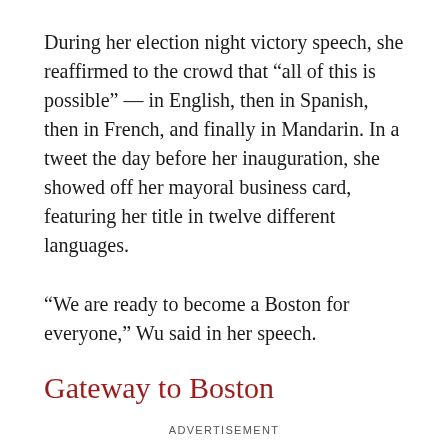During her election night victory speech, she reaffirmed to the crowd that “all of this is possible” — in English, then in Spanish, then in French, and finally in Mandarin. In a tweet the day before her inauguration, she showed off her mayoral business card, featuring her title in twelve different languages.
“We are ready to become a Boston for everyone,” Wu said in her speech.
Gateway to Boston
ADVERTISEMENT
A daughter of Taiwanese immigrants born on Chicago’s South Side, Wu had never truly been away from her family before coming to Cambridge in August 2003. Her entire family, including her parents and her siblings,